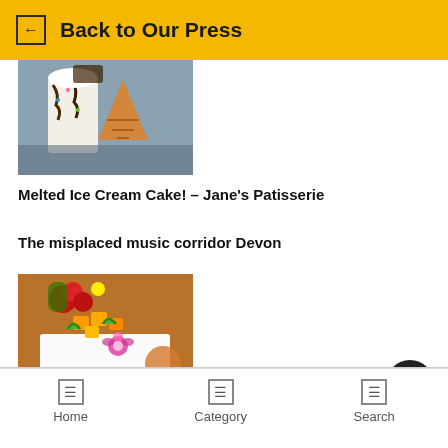← Back to Our Press
[Figure (photo): Photo of ice cream milkshake with chocolate drizzle and waffle cone]
Melted Ice Cream Cake! – Jane's Patisserie
The misplaced music corridor Devon
[Figure (photo): Photo of a square layered cake decorated with mango pieces, flowers, and a pansy]
Home   Category   Search